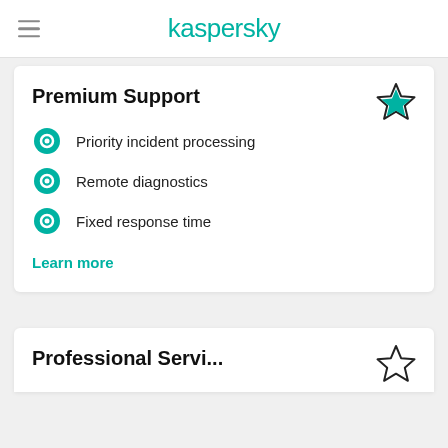kaspersky
Premium Support
Priority incident processing
Remote diagnostics
Fixed response time
Learn more
Professional Servi...